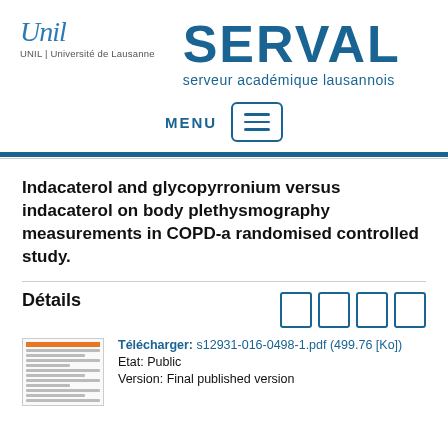[Figure (logo): UNIL Université de Lausanne logo with italic script and text]
[Figure (logo): SERVAL serveur académique lausannois logo in dark blue]
MENU
Indacaterol and glycopyrronium versus indacaterol on body plethysmography measurements in COPD-a randomised controlled study.
Détails
[Figure (screenshot): Thumbnail of PDF document]
Télécharger: s12931-016-0498-1.pdf (499.76 [Ko])
Etat: Public
Version: Final published version